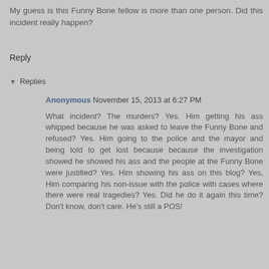My guess is this Funny Bone fellow is more than one person. Did this incident really happen?
Reply
Replies
Anonymous November 15, 2013 at 6:27 PM
What incident? The murders? Yes. Him getting his ass whipped because he was asked to leave the Funny Bone and refused? Yes. Him going to the police and the mayor and being told to get lost because because the investigation showed he showed his ass and the people at the Funny Bone were justified? Yes. Him showing his ass on this blog? Yes, Him comparing his non-issue with the police with cases where there were real tragedies? Yes. Did he do it again this time? Don't know, don't care. He's still a POS!